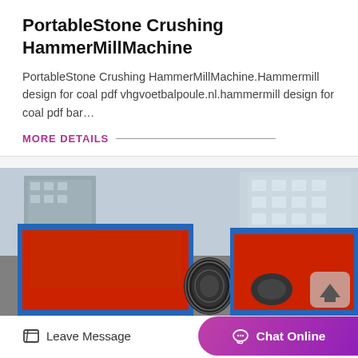PortableStone Crushing HammerMillMachine
PortableStone Crushing HammerMillMachine.Hammermill design for coal pdf vhgvoetbalpoule.nl.hammermill design for coal pdf bar…
MORE DETAILS
[Figure (photo): Industrial red hammer mill / stone crushing machine with blue-trimmed hopper and visible belt/pulley drive mechanism, photographed outdoors]
Leave Message
Chat Online